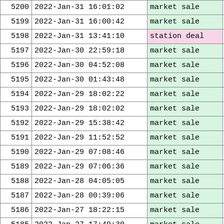| id | datetime | type | extra |
| --- | --- | --- | --- |
| 5200 | 2022-Jan-31 16:01:02 | market sale |  |
| 5199 | 2022-Jan-31 16:00:42 | market sale |  |
| 5198 | 2022-Jan-31 13:41:10 | station deal |  |
| 5197 | 2022-Jan-30 22:59:18 | market sale |  |
| 5196 | 2022-Jan-30 04:52:08 | market sale |  |
| 5195 | 2022-Jan-30 01:43:48 | market sale |  |
| 5194 | 2022-Jan-29 18:02:22 | market sale |  |
| 5193 | 2022-Jan-29 18:02:02 | market sale |  |
| 5192 | 2022-Jan-29 15:38:42 | market sale |  |
| 5191 | 2022-Jan-29 11:52:52 | market sale |  |
| 5190 | 2022-Jan-29 07:08:46 | market sale |  |
| 5189 | 2022-Jan-29 07:06:36 | market sale |  |
| 5188 | 2022-Jan-28 04:05:05 | market sale |  |
| 5187 | 2022-Jan-28 00:39:06 | market sale |  |
| 5186 | 2022-Jan-27 18:22:15 | market sale |  |
| 5185 | 2022-Jan-27 17:49:30 | market sale |  |
| 5184 | 2022-Jan-27 01:27:18 | market sale |  |
| 5183 | 2022-Jan-27 00:07:40 | market sale |  |